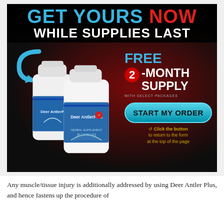[Figure (illustration): Advertisement for Deer Antler Plus supplement. Dark background with red glow. Large headline text 'GET YOURS NOW' in blue and red, 'WHILE SUPPLIES LAST' in white below. Blue curved arrow on left. Two white supplement bottles labeled 'Deer AntlerPlus'. Right side shows 'FREE 2-MONTH SUPPLY WITH SELECT PACKAGES' text with red circle containing '2'. Cyan oval button reading 'START MY ORDER'. Gold text below button: 'Click the button to return to the form at the top of the page'.]
Any muscle/tissue injury is additionally addressed by using Deer Antler Plus, and hence fastens up the procedure of